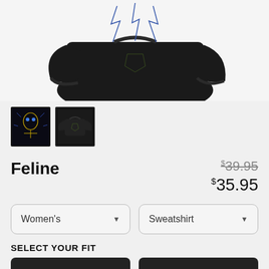[Figure (photo): Black sweatshirt with dark graphic design shown as main product image]
[Figure (photo): Thumbnail 1: dark design on black background showing cat/owl graphic]
[Figure (photo): Thumbnail 2: black sweatshirt product view, selected]
Feline
$39.95 (original price, strikethrough) $35.95 (sale price)
Women's (dropdown) Sweatshirt (dropdown)
SELECT YOUR FIT